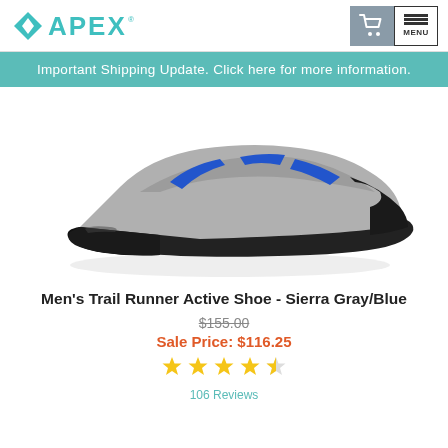APEX
Important Shipping Update. Click here for more information.
[Figure (photo): Men's Trail Runner Active Shoe in Sierra Gray/Blue colorway, shown from the side/front angle on a white background. The shoe has a black toe cap and sole, gray and mesh upper body, and blue accent details.]
Men's Trail Runner Active Shoe - Sierra Gray/Blue
$155.00
Sale Price: $116.25
106 Reviews